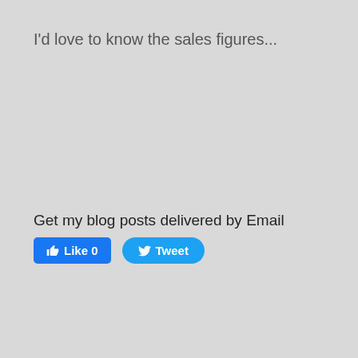I'd love to know the sales figures...
Get my blog posts delivered by Email
[Figure (other): Facebook Like button showing count 0 and Twitter Tweet button]
Like 0  Tweet